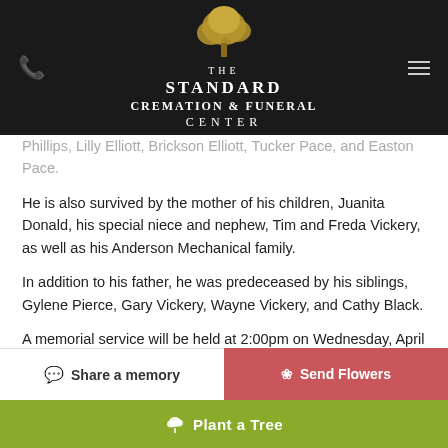THE STANDARD CREMATION & FUNERAL CENTER
Phillips, Lilly Elliott, Brickson Elliott, Tucker Pace, and Easton Pace.

He is also survived by the mother of his children, Juanita Donald, his special niece and nephew, Tim and Freda Vickery, as well as his Anderson Mechanical family.

In addition to his father, he was predeceased by his siblings, Gylene Pierce, Gary Vickery, Wayne Vickery, and Cathy Black.

A memorial service will be held at 2:00pm on Wednesday, April 6, 2022, in The Tribute Room of The Standard Cremation & Funeral Center, 1621 Pearman Dairy Rd. Anderson, S.C. 29625. Rev. Allan Black, Rev. Al Kissiah and Rev. James Petty will officiate.
Share a memory | Send Flowers | Plant a Tree